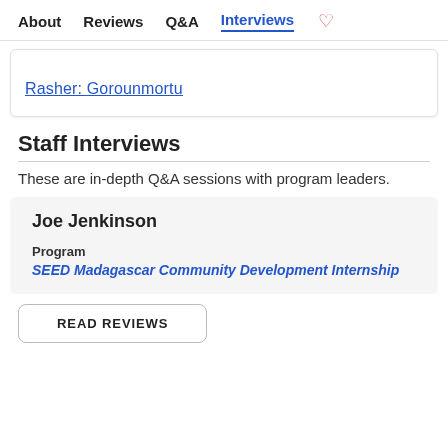About   Reviews   Q&A   Interviews  ♡
Rasher: Gorounmortu
Staff Interviews
These are in-depth Q&A sessions with program leaders.
Joe Jenkinson
Program
SEED Madagascar Community Development Internship
READ REVIEWS